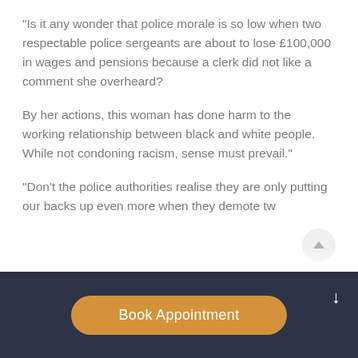“Is it any wonder that police morale is so low when two respectable police sergeants are about to lose £100,000 in wages and pensions because a clerk did not like a comment she overheard?
By her actions, this woman has done harm to the working relationship between black and white people. While not condoning racism, sense must prevail.”
“Don’t the police authorities realise they are only putting our backs up even more when they demote two…